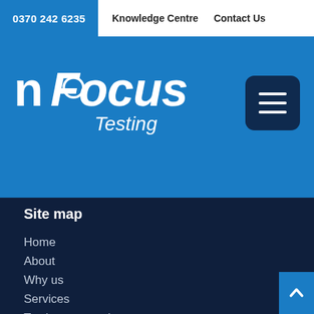0370 242 6235   Knowledge Centre   Contact Us
[Figure (logo): nFocus Testing logo in white on blue background]
Site map
Home
About
Why us
Services
Testing automation
Testing resourcing
Health check